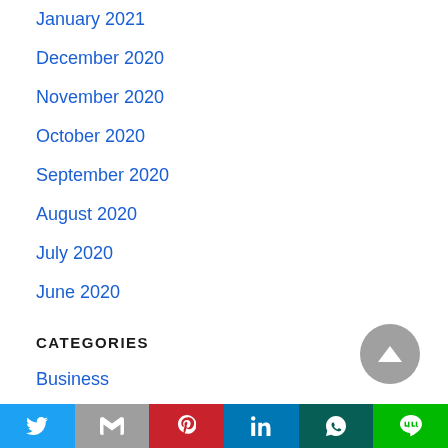January 2021
December 2020
November 2020
October 2020
September 2020
August 2020
July 2020
June 2020
CATEGORIES
Business
Finance
Headlines
[Figure (other): Social share bar with Twitter, Gmail, Pinterest, LinkedIn, WhatsApp, Line buttons at bottom of page, plus a scroll-to-top arrow button]